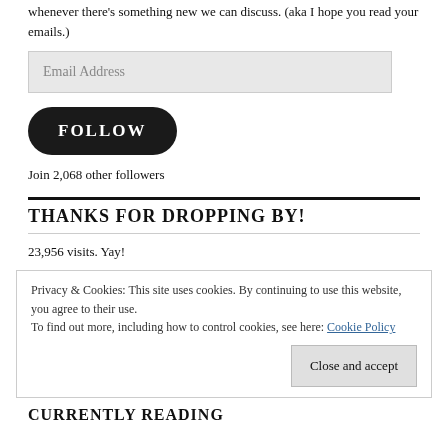whenever there's something new we can discuss. (aka I hope you read your emails.)
Email Address
FOLLOW
Join 2,068 other followers
THANKS FOR DROPPING BY!
23,956 visits. Yay!
Privacy & Cookies: This site uses cookies. By continuing to use this website, you agree to their use.
To find out more, including how to control cookies, see here: Cookie Policy
Close and accept
CURRENTLY READING